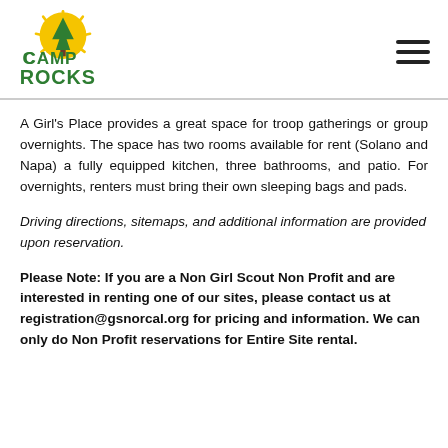[Figure (logo): Camp Rocks logo with yellow sun/circle, green pine tree, and green text reading CAMP ROCKS]
A Girl's Place provides a great space for troop gatherings or group overnights. The space has two rooms available for rent (Solano and Napa) a fully equipped kitchen, three bathrooms, and patio. For overnights, renters must bring their own sleeping bags and pads.
Driving directions, sitemaps, and additional information are provided upon reservation.
Please Note: If you are a Non Girl Scout Non Profit and are interested in renting one of our sites, please contact us at registration@gsnorcal.org for pricing and information. We can only do Non Profit reservations for Entire Site rental.